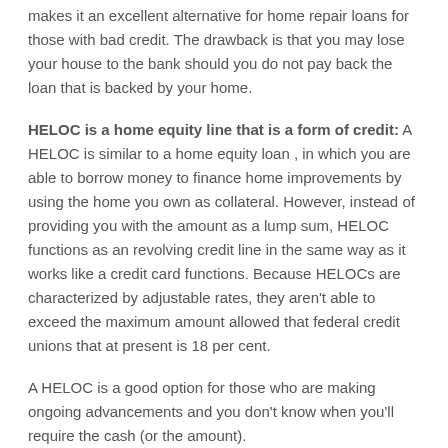makes it an excellent alternative for home repair loans for those with bad credit. The drawback is that you may lose your house to the bank should you do not pay back the loan that is backed by your home.
HELOC is a home equity line that is a form of credit: A HELOC is similar to a home equity loan , in which you are able to borrow money to finance home improvements by using the home you own as collateral. However, instead of providing you with the amount as a lump sum, HELOC functions as an revolving credit line in the same way as it works like a credit card functions. Because HELOCs are characterized by adjustable rates, they aren't able to exceed the maximum amount allowed that federal credit unions that at present is 18 per cent.
A HELOC is a good option for those who are making ongoing advancements and you don't know when you'll require the cash (or the amount).